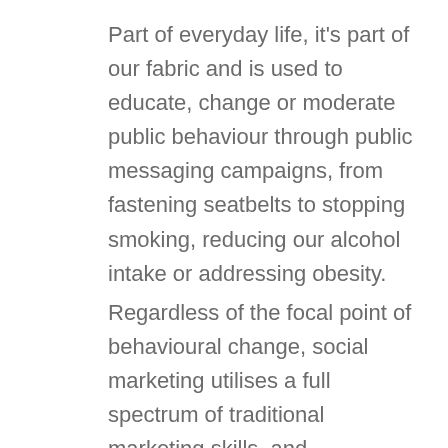Part of everyday life, it's part of our fabric and is used to educate, change or moderate public behaviour through public messaging campaigns, from fastening seatbelts to stopping smoking, reducing our alcohol intake or addressing obesity.
Regardless of the focal point of behavioural change, social marketing utilises a full spectrum of traditional marketing skills, and techniques by one group (the Client) in order to influence